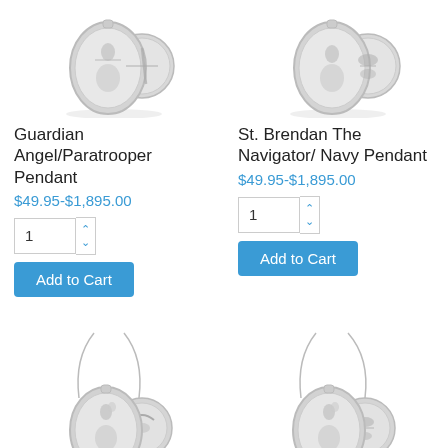[Figure (photo): Guardian Angel/Paratrooper silver pendant medal with military insignia coin, shown with chain reflection]
[Figure (photo): St. Brendan The Navigator/Navy silver pendant medal with Navy insignia coin, shown with chain reflection]
Guardian Angel/Paratrooper Pendant
$49.95-$1,895.00
St. Brendan The Navigator/ Navy Pendant
$49.95-$1,895.00
[Figure (photo): St. Christopher/Air Force silver pendant medal with Air Force insignia coin on chain]
[Figure (photo): St. Christopher silver pendant medal with Navy insignia coin on chain, accessibility icon overlay]
St. Christopher / Air
St. Christopher /